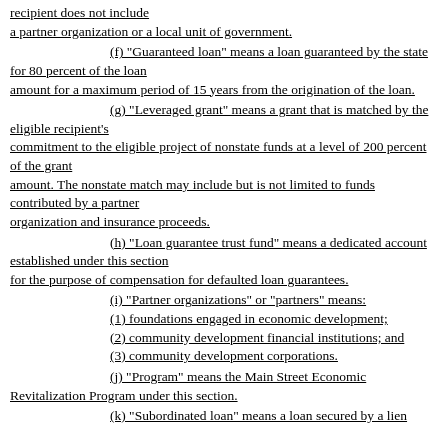recipient does not include a partner organization or a local unit of government.
(f) "Guaranteed loan" means a loan guaranteed by the state for 80 percent of the loan amount for a maximum period of 15 years from the origination of the loan.
(g) "Leveraged grant" means a grant that is matched by the eligible recipient's commitment to the eligible project of nonstate funds at a level of 200 percent of the grant amount. The nonstate match may include but is not limited to funds contributed by a partner organization and insurance proceeds.
(h) "Loan guarantee trust fund" means a dedicated account established under this section for the purpose of compensation for defaulted loan guarantees.
(i) "Partner organizations" or "partners" means:
(1) foundations engaged in economic development;
(2) community development financial institutions; and
(3) community development corporations.
(j) "Program" means the Main Street Economic Revitalization Program under this section.
(k) "Subordinated loan" means a loan secured by a lien